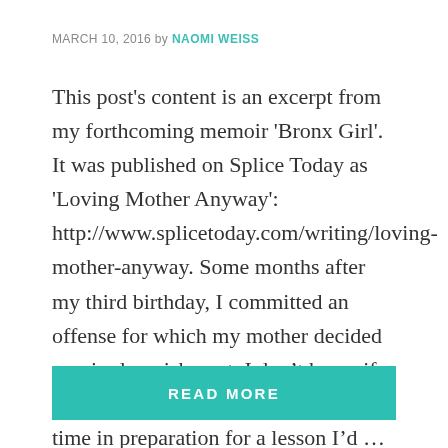MARCH 10, 2016 by NAOMI WEISS
This post's content is an excerpt from my forthcoming memoir 'Bronx Girl'. It was published on Splice Today as 'Loving Mother Anyway': http://www.splicetoday.com/writing/loving-mother-anyway. Some months after my third birthday, I committed an offense for which my mother decided required punishment. I don't know if she pondered what she did ahead of time in preparation for a lesson I'd …
READ MORE